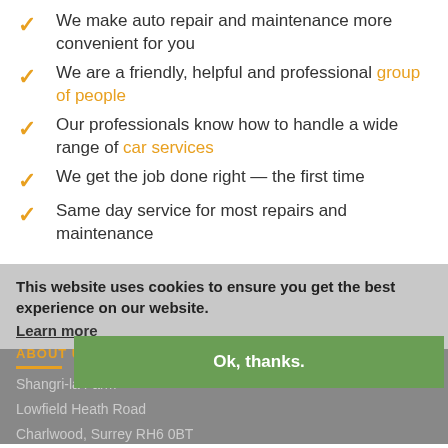We make auto repair and maintenance more convenient for you
We are a friendly, helpful and professional group of people
Our professionals know how to handle a wide range of car services
We get the job done right — the first time
Same day service for most repairs and maintenance
This website uses cookies to ensure you get the best experience on our website. Learn more
ABOUT US
Shangri-la Farm
Lowfield Heath Road
Charlwood, Surrey RH6 0BT
Ok, thanks.